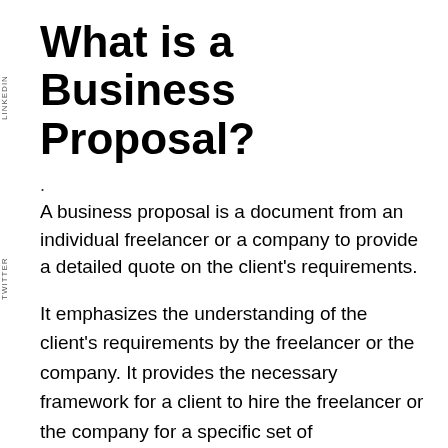What is a Business Proposal?
A business proposal is a document from an individual freelancer or a company to provide a detailed quote on the client's requirements.
It emphasizes the understanding of the client's requirements by the freelancer or the company. It provides the necessary framework for a client to hire the freelancer or the company for a specific set of requirements.
Proposal details changes as per the client's